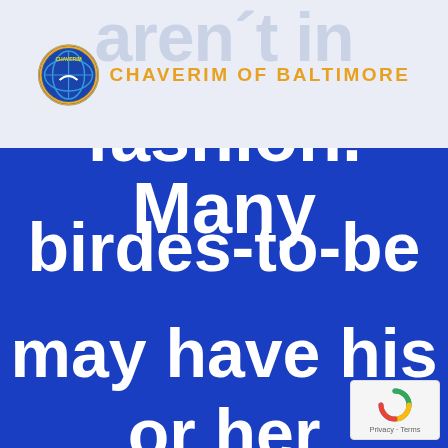[Figure (logo): Chaverim of Baltimore logo with circular emblem and organization name in gold/orange uppercase letters]
aren't in fashion. Many birdes-to-be may have his or her